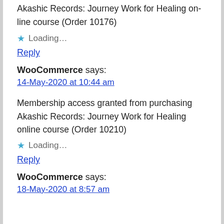Akashic Records: Journey Work for Healing on-line course (Order 10176)
★ Loading…
Reply
WooCommerce says:
14-May-2020 at 10:44 am
Membership access granted from purchasing Akashic Records: Journey Work for Healing online course (Order 10210)
★ Loading…
Reply
WooCommerce says:
18-May-2020 at 8:57 am